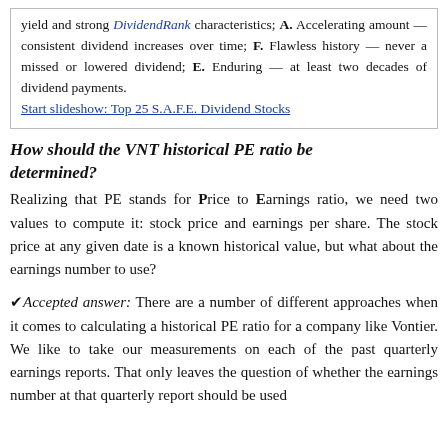yield and strong DividendRank characteristics; A. Accelerating amount — consistent dividend increases over time; F. Flawless history — never a missed or lowered dividend; E. Enduring — at least two decades of dividend payments.
Start slideshow: Top 25 S.A.F.E. Dividend Stocks
How should the VNT historical PE ratio be determined?
Realizing that PE stands for Price to Earnings ratio, we need two values to compute it: stock price and earnings per share. The stock price at any given date is a known historical value, but what about the earnings number to use?
✔Accepted answer: There are a number of different approaches when it comes to calculating a historical PE ratio for a company like Vontier. We like to take our measurements on each of the past quarterly earnings reports. That only leaves the question of whether the earnings number at that quarterly report should be used